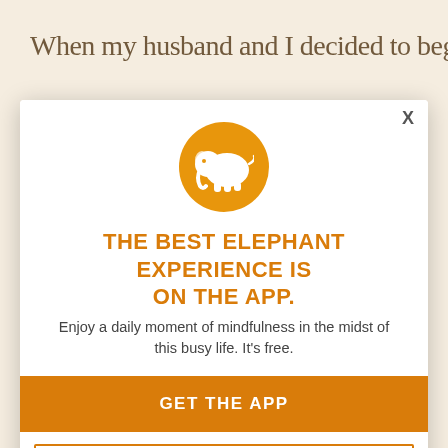When my husband and I decided to begin
our plant-based adventure over two years ago, we went cold turkey. We were all in. Since then, I've expanded my palate and gained a greater appreciation for how my body is designed to nourish itself. And it's finally time to look and know where our food is sourced. But the most important thing that I've learned: That I don't need to be limited or defined by a diet.
[Figure (logo): Orange circle with white elephant logo]
THE BEST ELEPHANT EXPERIENCE IS ON THE APP.
Enjoy a daily moment of mindfulness in the midst of this busy life. It's free.
GET THE APP
OPEN IN APP